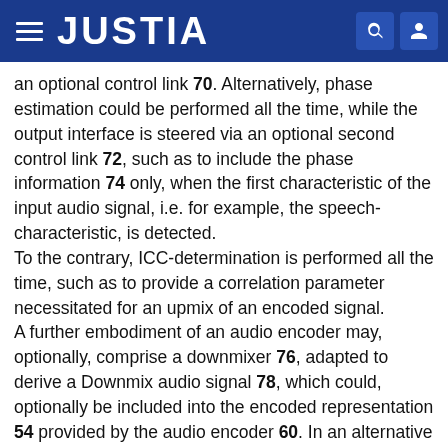JUSTIA
an optional control link 70. Alternatively, phase estimation could be performed all the time, while the output interface is steered via an optional second control link 72, such as to include the phase information 74 only, when the first characteristic of the input audio signal, i.e. for example, the speech-characteristic, is detected.
To the contrary, ICC-determination is performed all the time, such as to provide a correlation parameter necessitated for an upmix of an encoded signal.
A further embodiment of an audio encoder may, optionally, comprise a downmixer 76, adapted to derive a Downmix audio signal 78, which could, optionally be included into the encoded representation 54 provided by the audio encoder 60. In an alternative embodiment, the phase information could be based on an analysis of